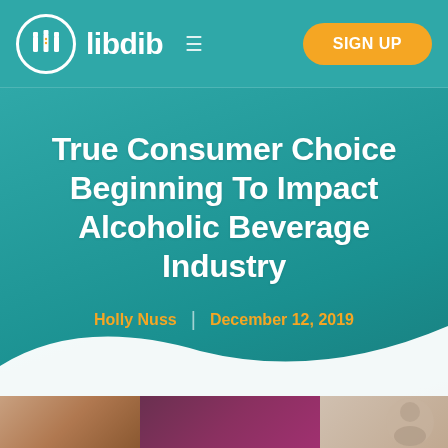libdib — SIGN UP
True Consumer Choice Beginning To Impact Alcoholic Beverage Industry
Holly Nuss | December 12, 2019
[Figure (photo): Bottom strip showing cropped photos of wine/beer products]